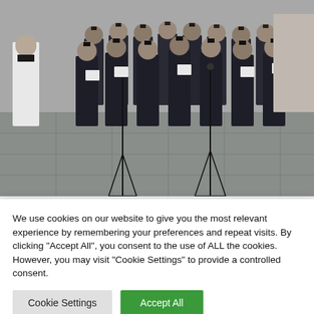[Figure (photo): Group of people in dark military/formal uniforms and masks standing outdoors on a paved area, holding papers, with microphone stands visible. A person in white religious robes is on the left edge.]
9 MONTHS AGO
Looking After Former Defence Forces Members
We use cookies on our website to give you the most relevant experience by remembering your preferences and repeat visits. By clicking "Accept All", you consent to the use of ALL the cookies. However, you may visit "Cookie Settings" to provide a controlled consent.
Cookie Settings
Accept All